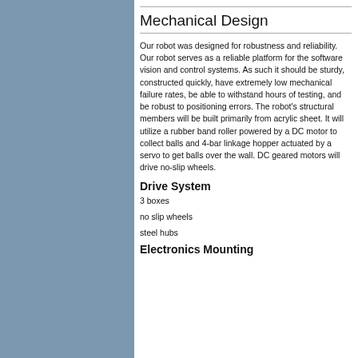Mechanical Design
Our robot was designed for robustness and reliability. Our robot serves as a reliable platform for the software vision and control systems. As such it should be sturdy, constructed quickly, have extremely low mechanical failure rates, be able to withstand hours of testing, and be robust to positioning errors. The robot's structural members will be built primarily from acrylic sheet. It will utilize a rubber band roller powered by a DC motor to collect balls and 4-bar linkage hopper actuated by a servo to get balls over the wall. DC geared motors will drive no-slip wheels.
Drive System
3 boxes
no slip wheels
steel hubs
Electronics Mounting